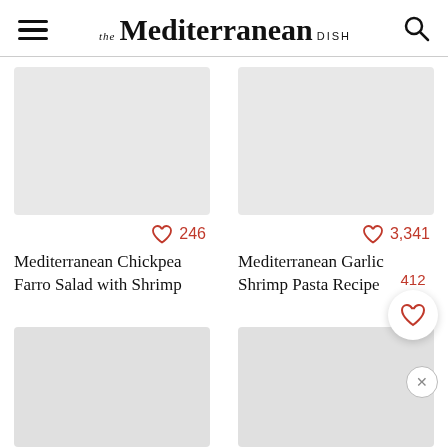THE Mediterranean DISH
[Figure (screenshot): Recipe card: Mediterranean Chickpea Farro Salad with Shrimp, 246 likes]
[Figure (screenshot): Recipe card: Mediterranean Garlic Shrimp Pasta Recipe, 3,341 likes]
Mediterranean Chickpea Farro Salad with Shrimp
246
Mediterranean Garlic Shrimp Pasta Recipe
3,341
Simple Mediterranean Avocado Salad
266
Mediterranean-Style Sauteed Shrimp and...
1,059
412